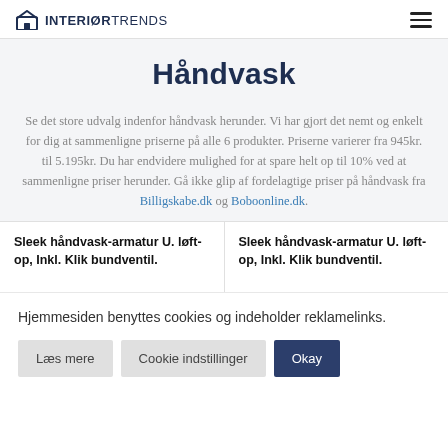INTERIØRTRENDS
Håndvask
Se det store udvalg indenfor håndvask herunder. Vi har gjort det nemt og enkelt for dig at sammenligne priserne på alle 6 produkter. Priserne varierer fra 945kr. til 5.195kr. Du har endvidere mulighed for at spare helt op til 10% ved at sammenligne priser herunder. Gå ikke glip af fordelagtige priser på håndvask fra Billigskabe.dk og Boboonline.dk.
Sleek håndvask-armatur U. løft-op, Inkl. Klik bundventil.
Sleek håndvask-armatur U. løft-op, Inkl. Klik bundventil.
Hjemmesiden benyttes cookies og indeholder reklamelinks.
Læs mere
Cookie indstillinger
Okay